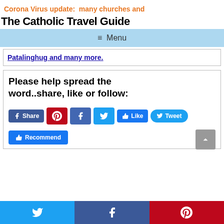Corona Virus update:  many churches and
The Catholic Travel Guide
≡ Menu
Patalinghug and many more.
Please help spread the word..share, like or follow:
[Figure (screenshot): Social media sharing buttons including Facebook Share, Pinterest, Facebook, Twitter, Like, and Tweet buttons, plus a Facebook Recommend button]
[Figure (screenshot): Bottom navigation bar with Twitter (blue), Facebook (dark blue), and Pinterest (red) icons]